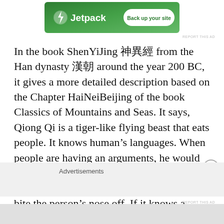[Figure (screenshot): Jetpack advertisement banner with green gradient background, Jetpack logo on the left and 'Back up your site' button on the right]
In the book ShenYiJing 神異經 from the Han dynasty 漢朝 around the year 200 BC, it gives a more detailed description based on the Chapter HaiNeiBeijing of the book Classics of Mountains and Seas. It says, Qiong Qi is a tiger-like flying beast that eats people. It knows human's languages. When people are having an arguments, he would eat the righteous person. If it knows a person is honest and trust worthy, he would bite the person's nose off. If it knows a person is evil, he would hunt food for the person.
Advertisements